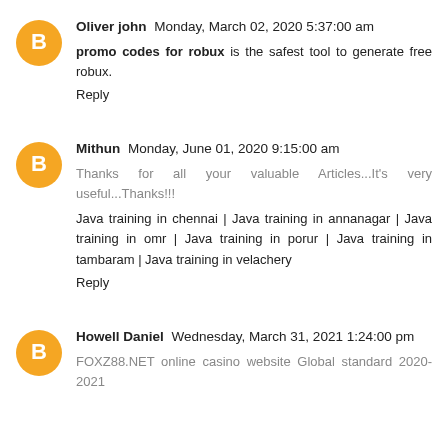Oliver john  Monday, March 02, 2020 5:37:00 am
promo codes for robux is the safest tool to generate free robux.
Reply
Mithun  Monday, June 01, 2020 9:15:00 am
Thanks for all your valuable Articles...It's very useful...Thanks!!!
Java training in chennai | Java training in annanagar | Java training in omr | Java training in porur | Java training in tambaram | Java training in velachery
Reply
Howell Daniel  Wednesday, March 31, 2021 1:24:00 pm
FOXZ88.NET online casino website Global standard 2020-2021